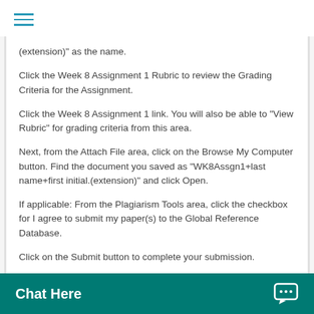≡ (hamburger menu)
(extension)" as the name.
Click the Week 8 Assignment 1 Rubric to review the Grading Criteria for the Assignment.
Click the Week 8 Assignment 1 link. You will also be able to "View Rubric" for grading criteria from this area.
Next, from the Attach File area, click on the Browse My Computer button. Find the document you saved as "WK8Assgn1+last name+first initial.(extension)" and click Open.
If applicable: From the Plagiarism Tools area, click the checkbox for I agree to submit my paper(s) to the Global Reference Database.
Click on the Submit button to complete your submission.
Chat Here